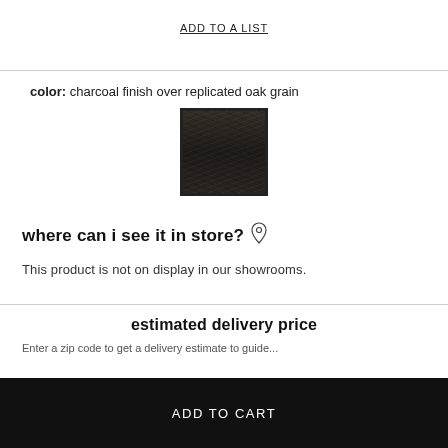ADD TO A LIST
color:  charcoal finish over replicated oak grain
[Figure (other): Color swatch showing charcoal finish over replicated oak grain — a dark brownish-black textured square with a bold border]
where can i see it in store?
This product is not on display in our showrooms.
estimated delivery price
Enter a zip code to get a delivery estimate to guide...
ADD TO CART